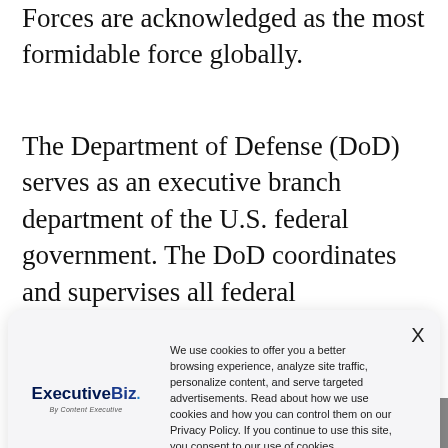Forces are acknowledged as the most formidable force globally.
The Department of Defense (DoD) serves as an executive branch department of the U.S. federal government. The DoD coordinates and supervises all federal departments and responsibilities directly linked to national security and military operations.
[Figure (screenshot): Cookie consent popup overlay featuring the ExecutiveBiz logo on the left and cookie policy text on the right with an X close button. Text reads: 'We use cookies to offer you a better browsing experience, analyze site traffic, personalize content, and serve targeted advertisements. Read about how we use cookies and how you can control them on our Privacy Policy. If you continue to use this site, you consent to our use of cookies.']
As of 2022, China possessed the world's most